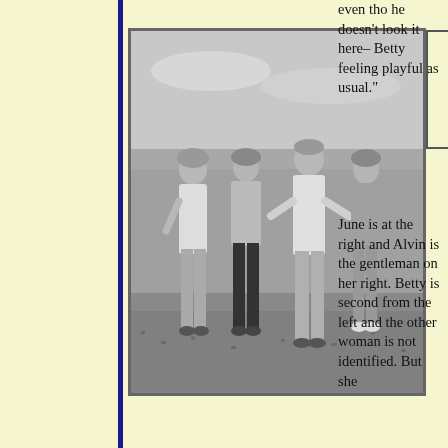[Figure (photo): Black and white photograph of four people standing on a beach — two women and two men. A woman is on the far left, Betty is second from the left, a man (Alvin) is third, and June is on the far right. They are posing together casually, the beach and sea visible in the background.]
even tho he doesn't look it here– Betty feeling playful as usual."
June is at the right and Alvin is the gentleman on her right. Betty is second from the left and the other woman is not identified. But she